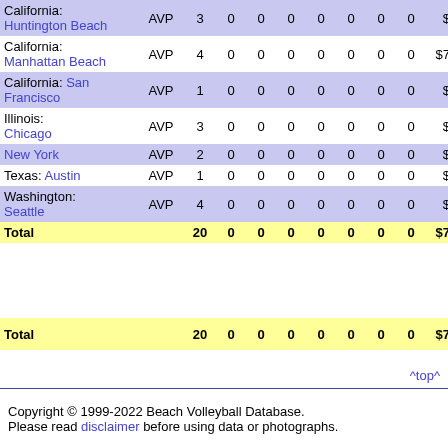| Location | Tour | GP | W | L | T | 1 | 2 | 3 | 4 | Prize | Pts |
| --- | --- | --- | --- | --- | --- | --- | --- | --- | --- | --- | --- |
| California: Huntington Beach | AVP | 3 | 0 | 0 | 0 | 0 | 0 | 0 | 0 | $0 | 195 |
| California: Manhattan Beach | AVP | 4 | 0 | 0 | 0 | 0 | 0 | 0 | 0 | $700 | 275 |
| California: San Francisco | AVP | 1 | 0 | 0 | 0 | 0 | 0 | 0 | 0 | $0 | 50 |
| Illinois: Chicago | AVP | 3 | 0 | 0 | 0 | 0 | 0 | 0 | 0 | $0 | 230 |
| New York | AVP | 2 | 0 | 0 | 0 | 0 | 0 | 0 | 0 | $0 | 140 |
| Texas: Austin | AVP | 1 | 0 | 0 | 0 | 0 | 0 | 0 | 0 | $0 | 50 |
| Washington: Seattle | AVP | 4 | 0 | 0 | 0 | 0 | 0 | 0 | 0 | $0 | 250 |
| Total |  | 20 | 0 | 0 | 0 | 0 | 0 | 0 | 0 | $700 | 1,274 |
| Total |  | 20 | 0 | 0 | 0 | 0 | 0 | 0 | 0 | $700 | 1,274 |
^top^
Copyright © 1999-2022 Beach Volleyball Database. Please read disclaimer before using data or photographs.